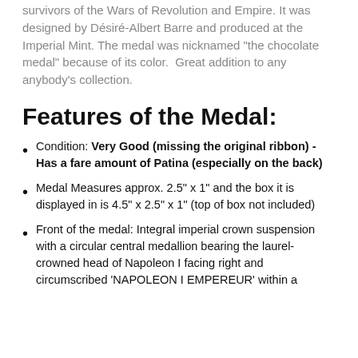survivors of the Wars of Revolution and Empire. It was designed by Désiré-Albert Barre and produced at the Imperial Mint. The medal was nicknamed "the chocolate medal" because of its color.  Great addition to any anybody's collection.
Features of the Medal:
Condition: Very Good (missing the original ribbon) - Has a fare amount of Patina (especially on the back)
Medal Measures approx. 2.5" x 1" and the box it is displayed in is 4.5" x 2.5" x 1" (top of box not included)
Front of the medal: Integral imperial crown suspension with a circular central medallion bearing the laurel-crowned head of Napoleon I facing right and circumscribed 'NAPOLEON I EMPEREUR' within a